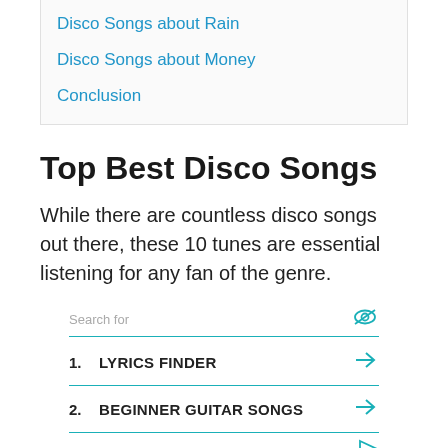Disco Songs about Rain
Disco Songs about Money
Conclusion
Top Best Disco Songs
While there are countless disco songs out there, these 10 tunes are essential listening for any fan of the genre.
[Figure (other): Ad search widget with 'Search for' field, eye icon, two items: 1. LYRICS FINDER with arrow, 2. BEGINNER GUITAR SONGS with arrow, and a play icon at the bottom right.]